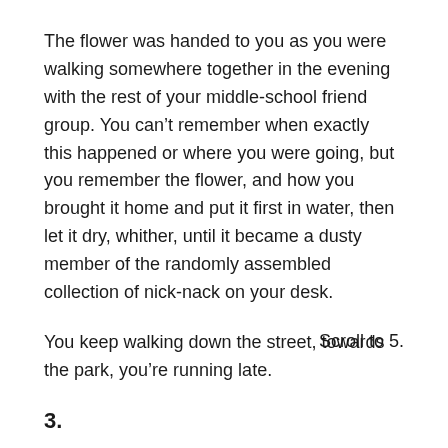The flower was handed to you as you were walking somewhere together in the evening with the rest of your middle-school friend group. You can't remember when exactly this happened or where you were going, but you remember the flower, and how you brought it home and put it first in water, then let it dry, whither, until it became a dusty member of the randomly assembled collection of nick-nack on your desk.
You keep walking down the street, towards the park, you're running late.
Scroll to 5.
3.